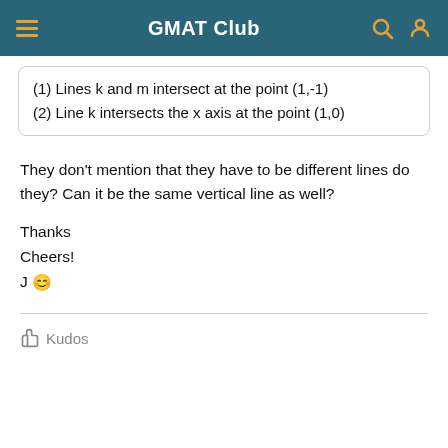GMAT Club
(1) Lines k and m intersect at the point (1,-1)
(2) Line k intersects the x axis at the point (1,0)
They don't mention that they have to be different lines do they? Can it be the same vertical line as well?

Thanks
Cheers!
J 😊
👍 Kudos